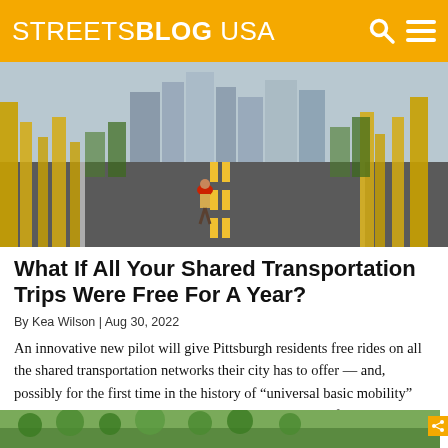STREETSBLOG USA
[Figure (photo): A person walking on a yellow bridge in Pittsburgh with city skyline in background]
What If All Your Shared Transportation Trips Were Free For A Year?
By Kea Wilson | Aug 30, 2022
An innovative new pilot will give Pittsburgh residents free rides on all the shared transportation networks their city has to offer — and, possibly for the first time in the history of "universal basic mobility" pilots, they'll be able to access them all on a single platform.
[Figure (photo): Partial view of a street scene with trees, bottom of page]